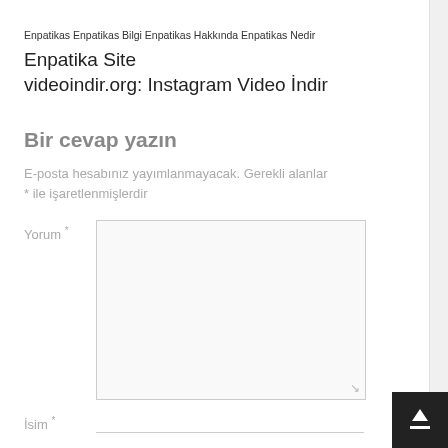Enpatikas Enpatikas Bilgi Enpatikas Hakkında Enpatikas Nedir
Enpatika Site
videoindir.org: Instagram Video İndir
Bir cevap yazın
E-posta hesabınız yayımlanmayacak. Gerekli alanlar * ile işaretlenmişlerdir
Yorum *
İsim *